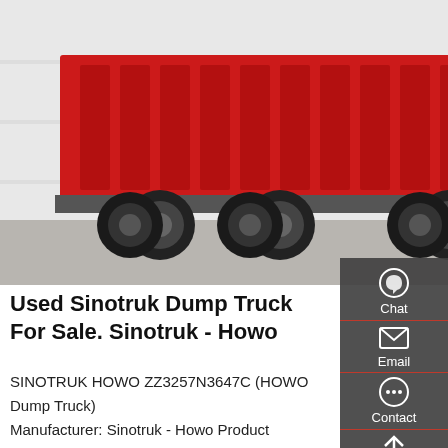[Figure (photo): Red Sinotruk Howo dump truck parked in a yard, side view showing large red dump body, multiple axles, and black cab]
Used Sinotruk Dump Truck For Sale. Sinotruk - Howo
SINOTRUK HOWO ZZ3257N3647C (HOWO Dump Truck) Manufacturer: Sinotruk - Howo Product Description 375HP 75km/H 2015 Year SINOTRUK HOWO Dump Truck-.Main Detail For HOWO Dump Truck.HOWO Dump Truck now in stock, new parts and quality could guarantee. 7-15 days could arrange shipment.